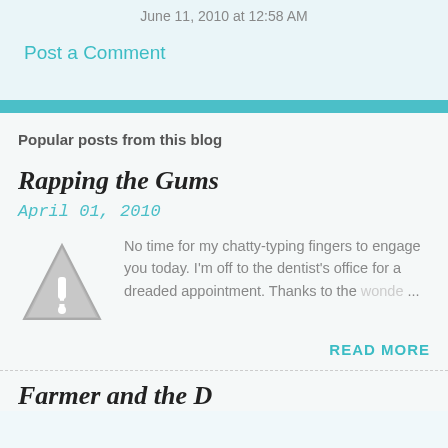June 11, 2010 at 12:58 AM
Post a Comment
Popular posts from this blog
Rapping the Gums
April 01, 2010
[Figure (illustration): Grey triangle warning/caution icon with exclamation mark]
No time for my chatty-typing fingers to engage you today. I'm off to the dentist's office for a dreaded appointment. Thanks to the wonde...
READ MORE
Farmer and the D